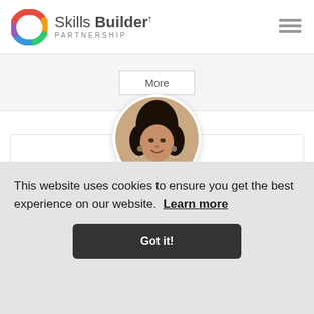Skills Builder PARTNERSHIP
More
[Figure (photo): Circular headshot photo of Hannah Eisa, a young woman with curly dark hair and earrings, smiling, wearing a dark top]
Hannah Eisa
Partnerships and Schools Associate
This website uses cookies to ensure you get the best experience on our website. Learn more
Got it!